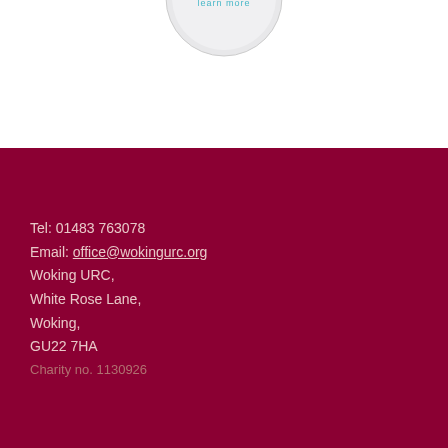[Figure (logo): Circular logo/badge partially visible at top center with text 'learn more']
Tel: 01483 763078
Email: office@wokingurc.org
Woking URC,
White Rose Lane,
Woking,
GU22 7HA
Charity no. 1130926